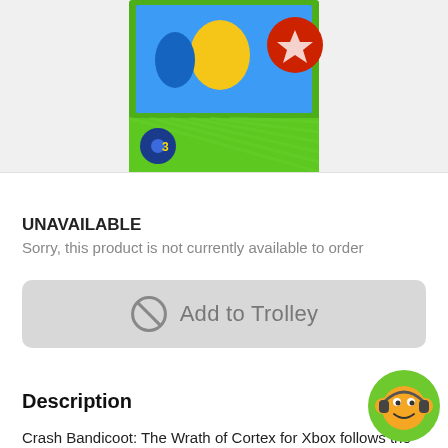[Figure (photo): Crash Bandicoot: The Wrath of Cortex Xbox game box image with green background, partially visible at top of page]
UNAVAILABLE
Sorry, this product is not currently available to order
Add to Trolley
Description
Crash Bandicoot: The Wrath of Cortex for Xbox follows the same high-energy storyline as Universal Interactive's popular holiday release of Crash Bandicoot: The Wrath of Cortex for the PlayStation*2 computer entertainment
[Figure (illustration): Customer service chat icon — cartoon monkey face with headset on green circular background, bottom right corner]